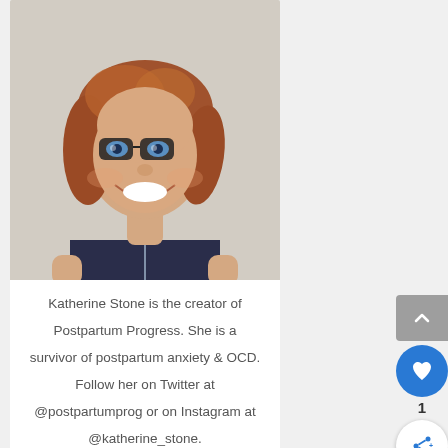[Figure (photo): A smiling woman with auburn/reddish-brown wavy hair, wearing dark-framed glasses and a navy sleeveless top with a zipper. She appears happy and is photographed from about waist up.]
Katherine Stone is the creator of Postpartum Progress. She is a survivor of postpartum anxiety & OCD. Follow her on Twitter at @postpartumprog or on Instagram at @katherine_stone.